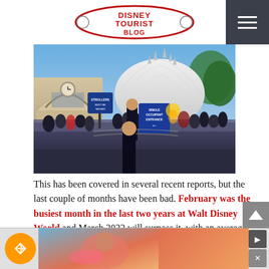DISNEYTOURISTBLOG
[Figure (photo): Crowd of visitors at Walt Disney World theme park near Space Mountain attraction, with a cast member in the foreground and a 'Single Occupant Entrance' sign visible. Space Mountain's white dome is prominent in the background along with a vintage train station building.]
This has been covered in several recent reports, but the last couple of months have been bad. February was the busiest month in the last two years at Walt Disney World and March 2022 will surpass it, with an average wait t... 47 minut...